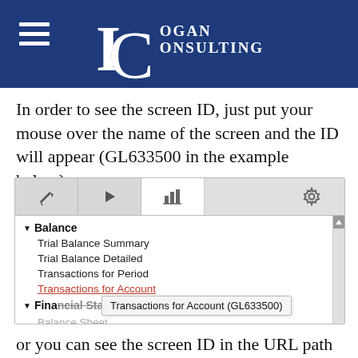[Figure (logo): Logan Consulting logo on dark blue background with hamburger menu icon on left]
In order to see the screen ID, just put your mouse over the name of the screen and the ID will appear (GL633500 in the example below):
[Figure (screenshot): Screenshot of a software menu showing Balance section with items: Trial Balance Summary, Trial Balance Detailed, Transactions for Period, Transactions for Account (highlighted in red/link), Financial Statements section partially visible, Balance Sheet, Balance Sheet - Quarterly. A tooltip shows 'Transactions for Account (GL633500)'.]
or you can see the screen ID in the URL path in